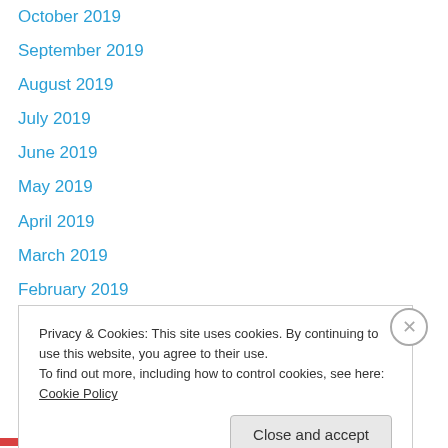October 2019
September 2019
August 2019
July 2019
June 2019
May 2019
April 2019
March 2019
February 2019
January 2019
November 2018
October 2018
September 2018
August 2018
Privacy & Cookies: This site uses cookies. By continuing to use this website, you agree to their use. To find out more, including how to control cookies, see here: Cookie Policy
Close and accept